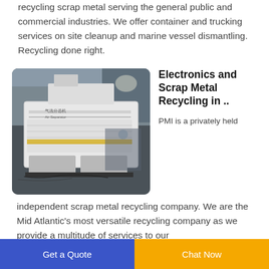recycling scrap metal serving the general public and commercial industries. We offer container and trucking services on site cleanup and marine vessel dismantling. Recycling done right.
[Figure (photo): Industrial air separator machine (气流分选机 / Air Separator) in a warehouse setting, white machine with Chinese and English labels.]
Electronics and Scrap Metal Recycling in ..
PMI is a privately held independent scrap metal recycling company. We are the Mid Atlantic's most versatile recycling company as we provide a multitude of services to our
Get a Quote  |  Chat Now